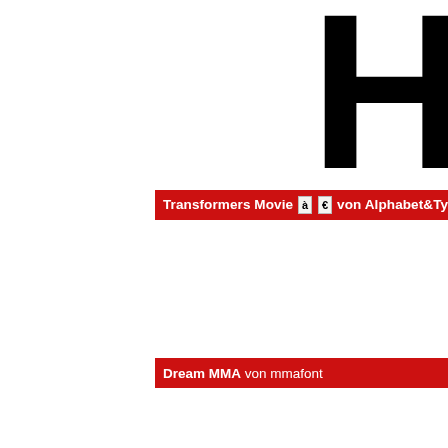[Figure (illustration): Large cropped black letters 'HC' at the top of the page (part of 'HOST' typeface specimen), shown in a heavy rounded sans-serif font, partially cropped at top and right]
Transformers Movie à € von Alphabet&Type®
[Figure (illustration): Large black letters 'HOST' in heavy rounded sans-serif font, partially cropped at right edge]
Dream MMA von mmafont
[Figure (illustration): Large italic black letters partially visible at bottom, cropped]